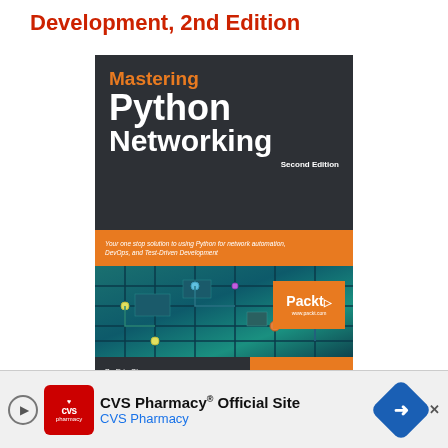Development, 2nd Edition
[Figure (illustration): Book cover of 'Mastering Python Networking Second Edition' by Eric Chou, published by Packt. Dark background with orange and white title text, circuit board imagery in lower half, orange banner with subtitle 'Your one stop solution to using Python for network automation, DevOps, and Test-Driven Development', and Packt logo in orange box.]
Author  Eric Chou
Buy
[Figure (other): CVS Pharmacy advertisement banner showing CVS logo, 'CVS Pharmacy® Official Site', 'CVS Pharmacy' link, and a blue diamond navigation arrow icon.]